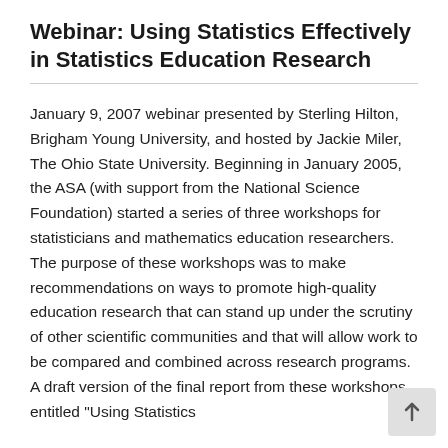Webinar: Using Statistics Effectively in Statistics Education Research
January 9, 2007 webinar presented by Sterling Hilton, Brigham Young University, and hosted by Jackie Miler, The Ohio State University. Beginning in January 2005, the ASA (with support from the National Science Foundation) started a series of three workshops for statisticians and mathematics education researchers. The purpose of these workshops was to make recommendations on ways to promote high-quality education research that can stand up under the scrutiny of other scientific communities and that will allow work to be compared and combined across research programs. A draft version of the final report from these workshops entitled "Using Statistics